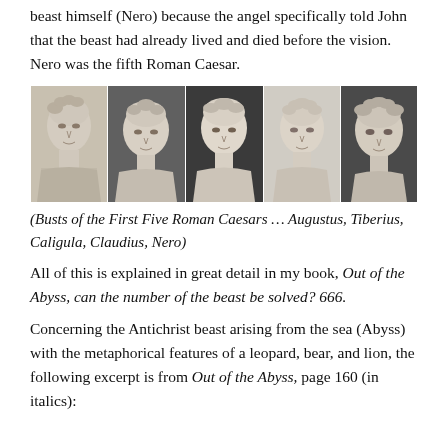beast himself (Nero) because the angel specifically told John that the beast had already lived and died before the vision. Nero was the fifth Roman Caesar.
[Figure (photo): Five busts of the first five Roman Caesars: Augustus, Tiberius, Caligula, Claudius, Nero]
(Busts of the First Five Roman Caesars … Augustus, Tiberius, Caligula, Claudius, Nero)
All of this is explained in great detail in my book, Out of the Abyss, can the number of the beast be solved? 666.
Concerning the Antichrist beast arising from the sea (Abyss) with the metaphorical features of a leopard, bear, and lion, the following excerpt is from Out of the Abyss, page 160 (in italics):